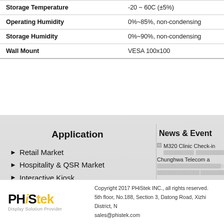| Property | Value |
| --- | --- |
| Storage Temperature | -20 ~ 60C (±5%) |
| Operating Humidity | 0%~85%, non-condensing |
| Storage Humidity | 0%~90%, non-condensing |
| Wall Mount | VESA 100x100 |
Application
Retail Market
Hospitality & QSR Market
Interactive Kiosk
Clinic Medical Registration
Gameing and Lottery
News & Event
M320 Clinic Check-in
Chunghwa Telecom a
Copyright 2017 PHiStek INC., all rights reserved. 5th floor, No.188, Section 3, Datong Road, Xizhi District, N sales@phistek.com